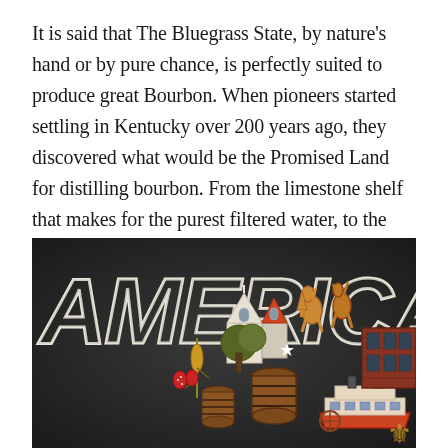It is said that The Bluegrass State, by nature's hand or by pure chance, is perfectly suited to produce great Bourbon. When pioneers started settling in Kentucky over 200 years ago, they discovered what would be the Promised Land for distilling bourbon. From the limestone shelf that makes for the purest filtered water, to the fertile earth used as rich farmland for growing corn, to the ideal climate for aging barrels of whiskey, Kentucky is blessed.
[Figure (illustration): A decorative mural/illustration on a dark charcoal background with large white outlined letters reading AMERICA'S. In the center and right portions is a colorful illustrated scene depicting Kentucky icons: a distillery building with steeples, horses rearing up, bourbon barrels, corn, strawberries, a riverboat, brick warehouses, and various Kentucky-themed imagery in orange, red, yellow, and white colors.]